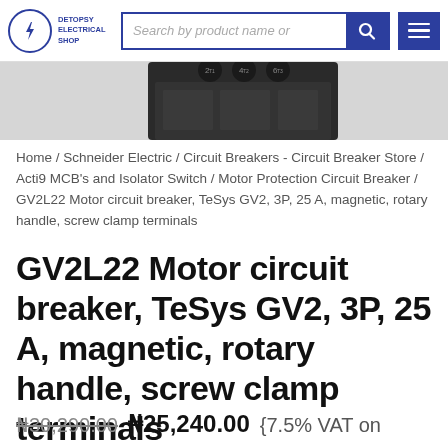DETOPSY ELECTRICAL SHOP — Search by product name or...
[Figure (photo): Partial view of GV2L22 Motor circuit breaker device, dark grey body with terminal labels visible]
Home / Schneider Electric / Circuit Breakers - Circuit Breaker Store / Acti9 MCB's and Isolator Switch / Motor Protection Circuit Breaker / GV2L22 Motor circuit breaker, TeSys GV2, 3P, 25 A, magnetic, rotary handle, screw clamp terminals
GV2L22 Motor circuit breaker, TeSys GV2, 3P, 25 A, magnetic, rotary handle, screw clamp terminals
₦30,290.00 ₦25,240.00 {7.5% VAT on